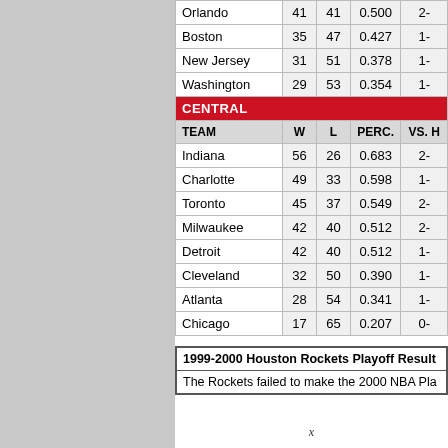| TEAM | W | L | PERC. | VS. H |
| --- | --- | --- | --- | --- |
| Orlando | 41 | 41 | 0.500 | 2- |
| Boston | 35 | 47 | 0.427 | 1- |
| New Jersey | 31 | 51 | 0.378 | 1- |
| Washington | 29 | 53 | 0.354 | 1- |
| TEAM | W | L | PERC. | VS. H |
| --- | --- | --- | --- | --- |
| Indiana | 56 | 26 | 0.683 | 2- |
| Charlotte | 49 | 33 | 0.598 | 1- |
| Toronto | 45 | 37 | 0.549 | 2- |
| Milwaukee | 42 | 40 | 0.512 | 2- |
| Detroit | 42 | 40 | 0.512 | 1- |
| Cleveland | 32 | 50 | 0.390 | 1- |
| Atlanta | 28 | 54 | 0.341 | 1- |
| Chicago | 17 | 65 | 0.207 | 0- |
1999-2000 Houston Rockets Playoff Results
The Rockets failed to make the 2000 NBA Playoffs.